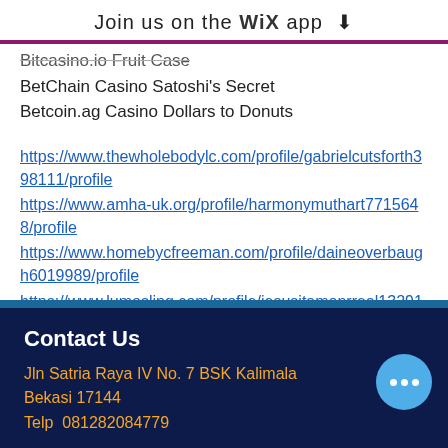Join us on the WiX app ↓
Bitcasino.io Fruit Case
BetChain Casino Satoshi's Secret
Betcoin.ag Casino Dollars to Donuts
https://www.thewholebodylc.com/profile/gabrielcutsforth398111/profile
https://www.amha-uk.org/profile/harmonymuthart7715648/profile
https://www.homebycfreeman.com/profile/daineoverbaugh6019989/profile
https://www.lumosling.com/profile/jesusitamonrreal13291835/profile
Contact Us
Jln Satria Raya IV No. 7 BSK Kalimala Bekasi 17144
Telp  081282084779